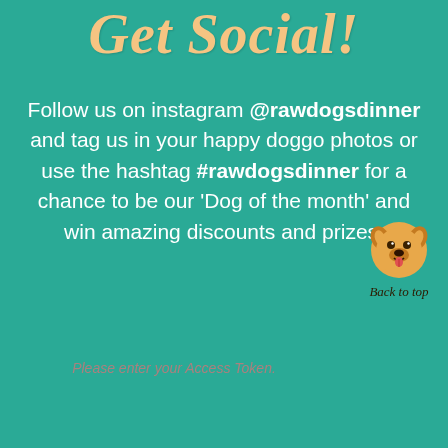Get Social!
Follow us on instagram @rawdogsdinner and tag us in your happy doggo photos or use the hashtag #rawdogsdinner for a chance to be our 'Dog of the month' and win amazing discounts and prizes.
Please enter your Access Token.
[Figure (illustration): Cartoon dog face icon with text 'Back to top']